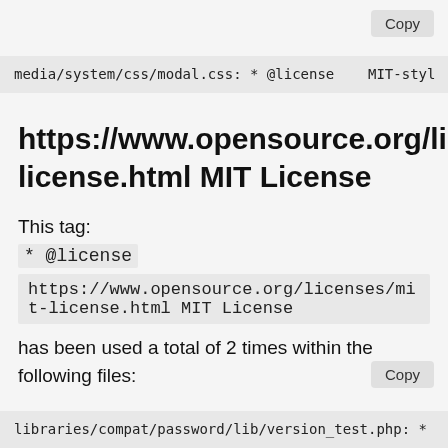Copy
media/system/css/modal.css: * @license    MIT-styl
https://www.opensource.org/licenses/mit-license.html MIT License
This tag:
* @license
https://www.opensource.org/licenses/mit-license.html MIT License
has been used a total of 2 times within the following files:
Copy
libraries/compat/password/lib/version_test.php: *